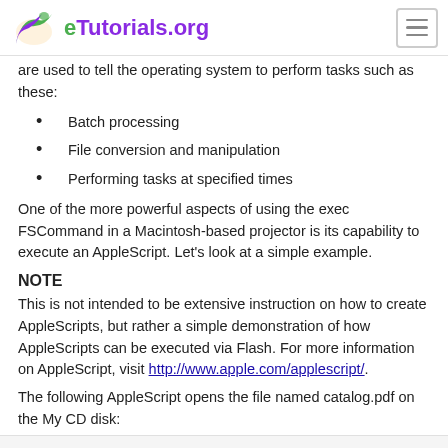eTutorials.org
are used to tell the operating system to perform tasks such as these:
Batch processing
File conversion and manipulation
Performing tasks at specified times
One of the more powerful aspects of using the exec FSCommand in a Macintosh-based projector is its capability to execute an AppleScript. Let’s look at a simple example.
NOTE
This is not intended to be extensive instruction on how to create AppleScripts, but rather a simple demonstration of how AppleScripts can be executed via Flash. For more information on AppleScript, visit http://www.apple.com/applescript/.
The following AppleScript opens the file named catalog.pdf on the My CD disk: